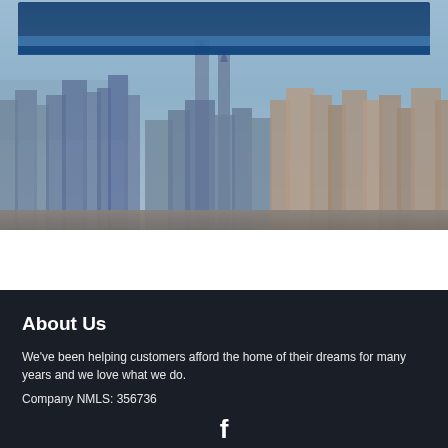[Figure (photo): Aerial view of a city skyline with tall skyscrapers, warm orange and cool blue tones. A dark blue banner/overlay appears at the top of the image.]
About Us
We've been helping customers afford the home of their dreams for many years and we love what we do.
Company NMLS: 356736
www.nmlsconsumeraccess.org
[Figure (logo): Facebook social media icon (letter f) in white at the bottom center of the dark footer section.]